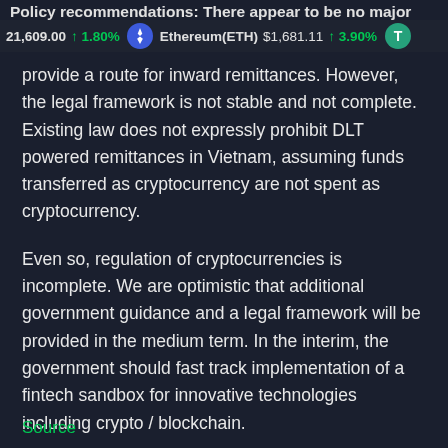Policy recommendations: There appear to be no major
21,609.00 ↑ 1.80%   Ethereum(ETH) $1,681.11 ↑ 3.90%   T
provide a route for inward remittances. However, the legal framework is not stable and not complete. Existing law does not expressly prohibit DLT powered remittances in Vietnam, assuming funds transferred as cryptocurrency are not spent as cryptocurrency.
Even so, regulation of cryptocurrencies is incomplete. We are optimistic that additional government guidance and a legal framework will be provided in the medium term. In the interim, the government should fast track implementation of a fintech sandbox for innovative technologies including crypto / blockchain.
As first appeared in Vietnam Investment Review, 03/04/2020. Updated 17 February 2022.
Source